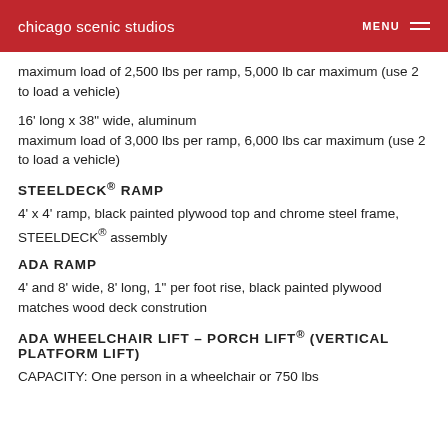chicago scenic studios  MENU
maximum load of 2,500 lbs per ramp, 5,000 lb car maximum (use 2 to load a vehicle)
16' long x 38" wide, aluminum maximum load of 3,000 lbs per ramp, 6,000 lbs car maximum (use 2 to load a vehicle)
STEELDECK® RAMP
4' x 4' ramp, black painted plywood top and chrome steel frame, STEELDECK® assembly
ADA RAMP
4' and 8' wide, 8' long, 1" per foot rise, black painted plywood matches wood deck constrution
ADA WHEELCHAIR LIFT – PORCH LIFT® (VERTICAL PLATFORM LIFT)
CAPACITY: One person in a wheelchair or 750 lbs